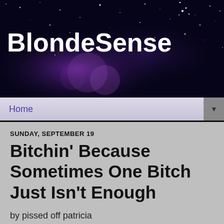[Figure (illustration): Website header banner with dark navy/purple starry night sky background]
BlondeSense
Home ▼
SUNDAY, SEPTEMBER 19
Bitchin' Because Sometimes One Bitch Just Isn't Enough
by pissed off patricia
Don't you sort of feel there is a tornado of stupidity, ignorance and arrogance approaching and soon it will be trying to suck you into it's cone of disillusionment? It would appear that this tornado has touched down over much of the US already, due to the ever disappearing voices of wisdom and reason.
We look around and we wonder, where did they go? What happened to all those who used to make sense to us?